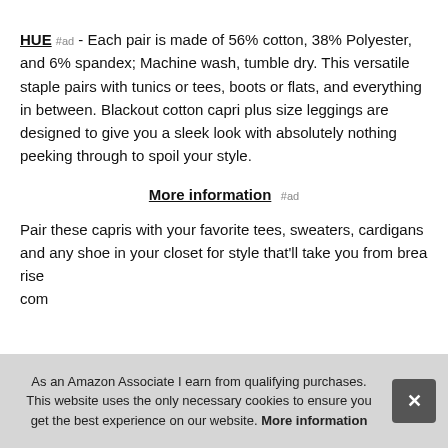HUE #ad - Each pair is made of 56% cotton, 38% Polyester, and 6% spandex; Machine wash, tumble dry. This versatile staple pairs with tunics or tees, boots or flats, and everything in between. Blackout cotton capri plus size leggings are designed to give you a sleek look with absolutely nothing peeking through to spoil your style.
More information #ad
Pair these capris with your favorite tees, sweaters, cardigans and any shoe in your closet for style that'll take you from brea... rise... com...
As an Amazon Associate I earn from qualifying purchases. This website uses the only necessary cookies to ensure you get the best experience on our website. More information